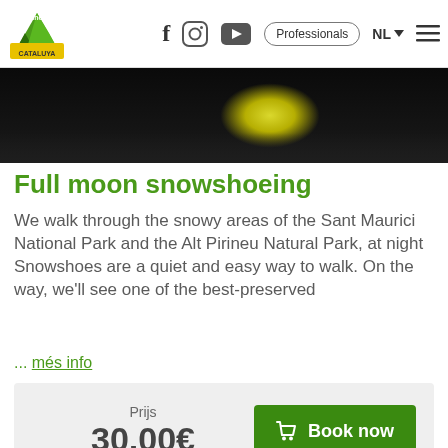Pirinous logo | f | Instagram | YouTube | Professionals | NL | menu
[Figure (photo): Nighttime snowy landscape with a bright yellow-white light glowing in the dark, viewed from above with dark sky background]
Full moon snowshoeing
We walk through the snowy areas of the Sant Maurici National Park and the Alt Pirineu Natural Park, at night Snowshoes are a quiet and easy way to walk. On the way, we'll see one of the best-preserved
... més info
Prijs
30,00€   Book now